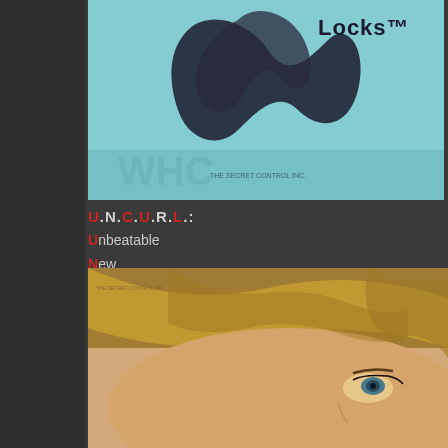[Figure (photo): Product packaging image for Locks hair product with teal/blue background and dark swirling hair illustration]
U.N.C.U.R.L.: Unbeatable New Conditioner & Uncurler for Relaxing Locks
[Figure (photo): Close-up photo of a woman with wavy/curly light brown hair and blue eyes lying down]